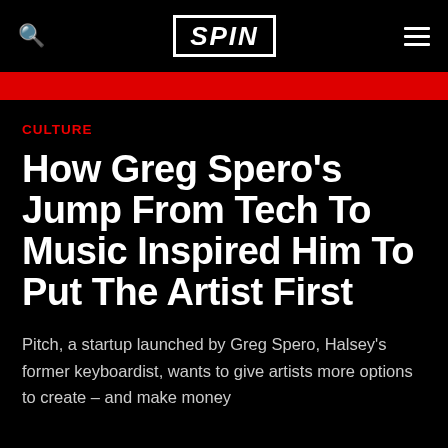SPIN
CULTURE
How Greg Spero's Jump From Tech To Music Inspired Him To Put The Artist First
Pitch, a startup launched by Greg Spero, Halsey's former keyboardist, wants to give artists more options to create – and make money